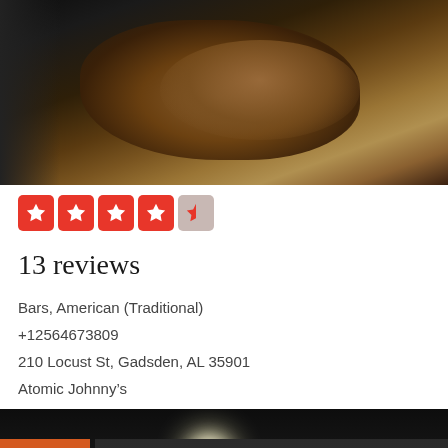[Figure (photo): Close-up photo of food (appears to be a baked item or meat) in a dark pan/tray, dimly lit with dark background]
[Figure (infographic): Yelp-style star rating showing 4.5 out of 5 stars — four full red star boxes and one half-filled/grey star box]
13 reviews
Bars, American (Traditional)
+12564673809
210 Locust St, Gadsden, AL 35901
Atomic Johnny’s
[Figure (photo): Interior photo of Atomic Johnny's bar/restaurant showing dark ceiling, orange wall on the left, a ceiling light glowing, a ceiling fan, purple ambient lighting, and a chevron/up arrow UI element in the top right corner]